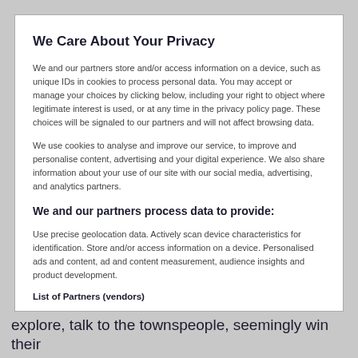We Care About Your Privacy
We and our partners store and/or access information on a device, such as unique IDs in cookies to process personal data. You may accept or manage your choices by clicking below, including your right to object where legitimate interest is used, or at any time in the privacy policy page. These choices will be signaled to our partners and will not affect browsing data.
We use cookies to analyse and improve our service, to improve and personalise content, advertising and your digital experience. We also share information about your use of our site with our social media, advertising, and analytics partners.
We and our partners process data to provide:
Use precise geolocation data. Actively scan device characteristics for identification. Store and/or access information on a device. Personalised ads and content, ad and content measurement, audience insights and product development.
List of Partners (vendors)
explore, talk to the townspeople, seemingly win their